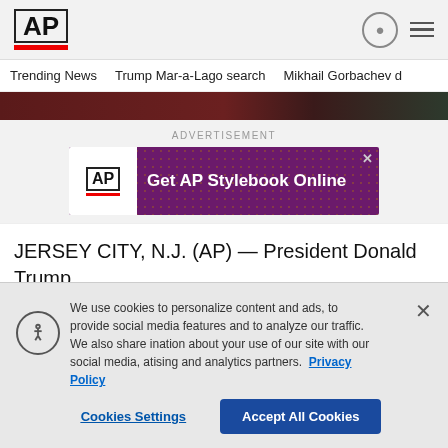[Figure (logo): AP (Associated Press) logo with bold AP text in a box and a red bar underneath]
Trending News   Trump Mar-a-Lago search   Mikhail Gorbachev d
[Figure (photo): Dark colored image strip showing partial photos]
ADVERTISEMENT
[Figure (other): AP Stylebook advertisement banner with purple dotted background: 'Get AP Stylebook Online']
JERSEY CITY, N.J. (AP) — President Donald Trump
We use cookies to personalize content and ads, to provide social media features and to analyze our traffic. We also share information about your use of our site with our social media, advertising and analytics partners.  Privacy Policy
Cookies Settings   Accept All Cookies